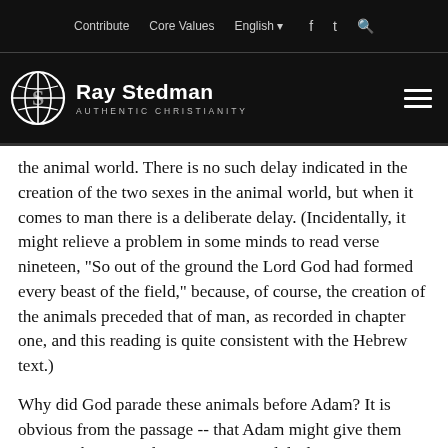Contribute   Core Values   English   [social icons]
[Figure (logo): Ray Stedman Authentic Christianity logo with globe icon and hamburger menu]
the animal world. There is no such delay indicated in the creation of the two sexes in the animal world, but when it comes to man there is a deliberate delay. (Incidentally, it might relieve a problem in some minds to read verse nineteen, "So out of the ground the Lord God had formed every beast of the field," because, of course, the creation of the animals preceded that of man, as recorded in chapter one, and this reading is quite consistent with the Hebrew text.)
Why did God parade these animals before Adam? It is obvious from the passage -- that Adam might give them names. This certainly suggests a good deal more